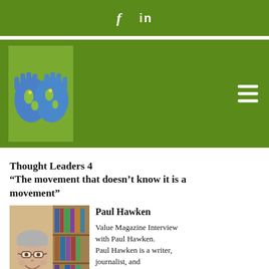f  in
[Figure (illustration): Green banner with hands painted as a globe logo and hamburger menu icon]
Thought Leaders 4
“The movement that doesn’t know it is a movement”
[Figure (photo): Portrait photo of Paul Hawken, a man with short grey hair and glasses, smiling, seated in front of a bookshelf]
Paul Hawken
Value Magazine Interview with Paul Hawken.
Paul Hawken is a writer, journalist, and